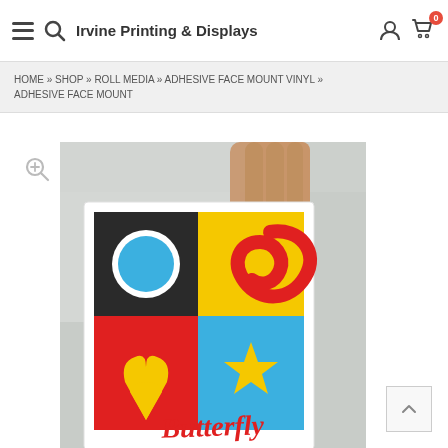Irvine Printing & Displays
HOME » SHOP » ROLL MEDIA » ADHESIVE FACE MOUNT VINYL » ADHESIVE FACE MOUNT
[Figure (photo): A hand holding a colorful printed vinyl sheet with a 4-quadrant design (black with blue circle, yellow with red swirl, red with yellow tulip, blue with yellow star) and the word 'Butterfly' in red script at the bottom. Product demo for adhesive face mount vinyl printing.]